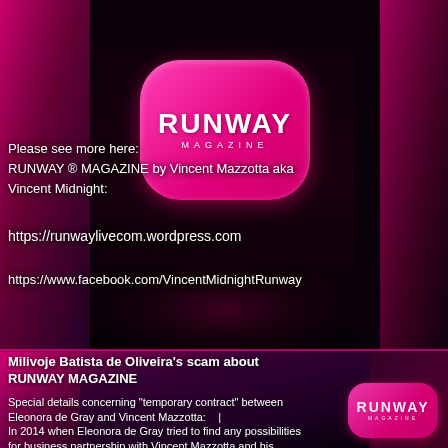[Figure (photo): Fashion magazine collage page with two sections. Top half shows fashion models in sequined/metallic outfits against a pink and dark background with graffiti-like elements, with a pink pill-shaped RUNWAY MAGAZINE logo in the center. Bottom half continues the collage with similar models and another RUNWAY logo. Text overlays include URLs and article text.]
Please see more here:
RUNWAY ® MAGAZINE by Vincent Mazzotta aka Vincent Midnight:
https://runwaylivecom.wordpress.com
https://www.facebook.com/VincentMidnightRunway
Milivoje Batista de Oliveira's scam about RUNWAY MAGAZINE
Special details concerning "temporary contract" between Eleonora de Gray and Vincent Mazzotta: | In 2014 when Eleonora de Gray tried to find any possibilities for business partnership with Vincent Mazzotta and his